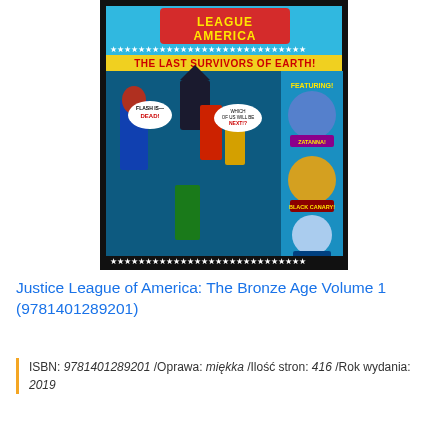[Figure (illustration): Book cover of Justice League of America: The Bronze Age Volume 1 — comic book cover showing Batman, Superman, The Flash and other DC heroes. Black background with stars border, blue top with 'THE LAST SURVIVORS OF EARTH!' text and character circles on the right featuring Zatanna, Black Canary, The Atom.]
Justice League of America: The Bronze Age Volume 1 (9781401289201)
ISBN: 9781401289201 /Oprawa: miękka /Ilość stron: 416 /Rok wydania: 2019